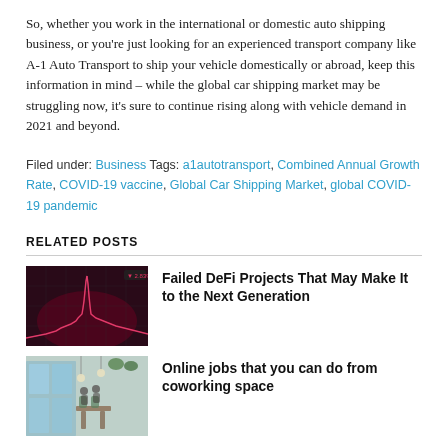So, whether you work in the international or domestic auto shipping business, or you're just looking for an experienced transport company like A-1 Auto Transport to ship your vehicle domestically or abroad, keep this information in mind – while the global car shipping market may be struggling now, it's sure to continue rising along with vehicle demand in 2021 and beyond.
Filed under: Business Tags: a1autotransport, Combined Annual Growth Rate, COVID-19 vaccine, Global Car Shipping Market, global COVID-19 pandemic
RELATED POSTS
Failed DeFi Projects That May Make It to the Next Generation
Online jobs that you can do from coworking space